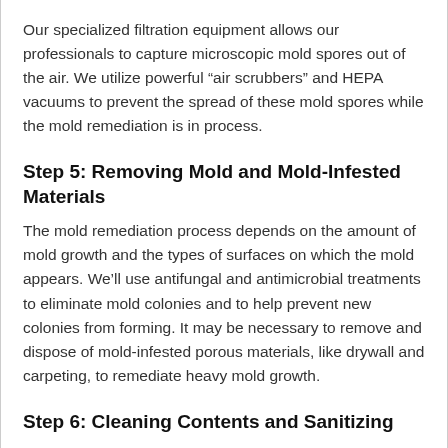Our specialized filtration equipment allows our professionals to capture microscopic mold spores out of the air. We utilize powerful “air scrubbers” and HEPA vacuums to prevent the spread of these mold spores while the mold remediation is in process.
Step 5: Removing Mold and Mold-Infested Materials
The mold remediation process depends on the amount of mold growth and the types of surfaces on which the mold appears. We’ll use antifungal and antimicrobial treatments to eliminate mold colonies and to help prevent new colonies from forming. It may be necessary to remove and dispose of mold-infested porous materials, like drywall and carpeting, to remediate heavy mold growth.
Step 6: Cleaning Contents and Sanitizing
We clean your furniture, decorative items, curtains, clothing, and other restorable items affected by mold, using a variety of cleaning techniques to clean and disinfect your belongings. We’re also trained to remove odors and provide